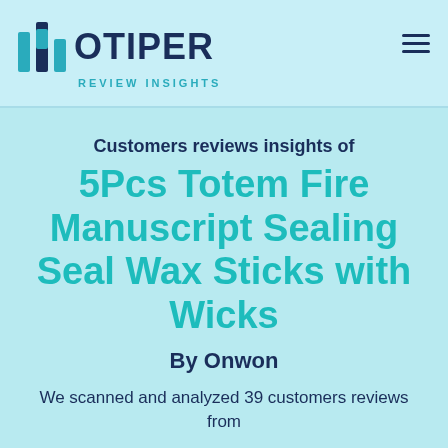HOTIPER REVIEW INSIGHTS
Customers reviews insights of
5Pcs Totem Fire Manuscript Sealing Seal Wax Sticks with Wicks
By Onwon
We scanned and analyzed 39 customers reviews from